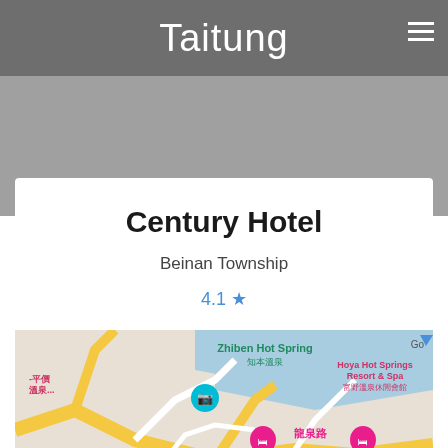Taitung
Century Hotel
Beinan Township
4.1 ★
[Figure (map): Google map showing Zhiben Hot Spring (知本温泉) area with labels for Hoya Hot Springs Resort & Spa (富野温泉休閒會館), Century Hotel location pin, and 龍泉路 street label. Roads shown in yellow and white on light background with blue water/river area.]